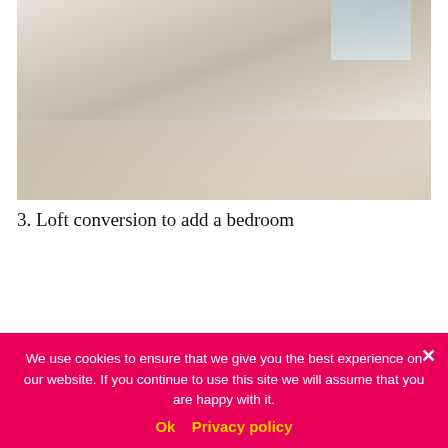[Figure (photo): Interior photo of a converted loft bedroom with light wood floors, a low bed, armchair, and skylights overhead in a bright, minimal style.]
3. Loft conversion to add a bedroom
Potential Value Added: 15%
An extra bedroom can add up to 15 per cent to the value of your home, especially if it's a loft conversion with an en suite bathroom. Most lofts can be converted, but it's worth getting an architect or builder to double-check
We use cookies to ensure that we give you the best experience on our website. If you continue to use this site we will assume that you are happy with it.
Ok   Privacy policy